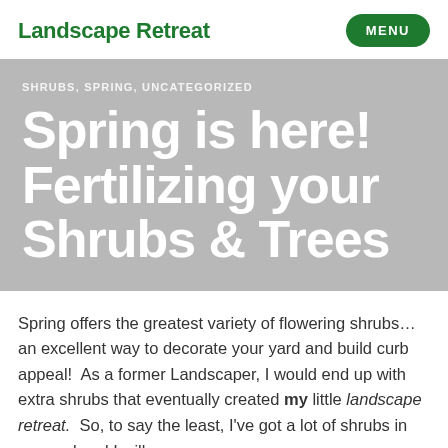Landscape Retreat
MENU
SHRUBS, SPRING, UNCATEGORIZED
Spring is here! Fertilizing your Shrubs & Trees
Spring offers the greatest variety of flowering shrubs...an excellent way to decorate your yard and build curb appeal! As a former Landscaper, I would end up with extra shrubs that eventually created my little landscape retreat. So, to say the least, I've got a lot of shrubs in my yard and I will